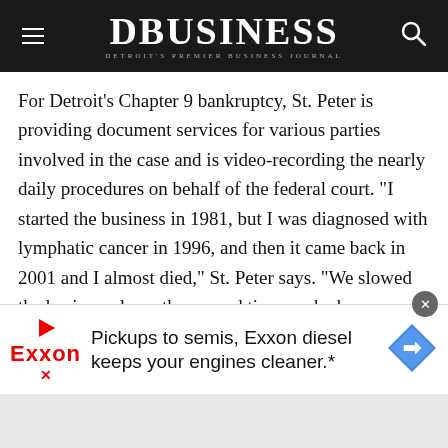DBUSINESS — Detroit's Premier Business Journal
For Detroit's Chapter 9 bankruptcy, St. Peter is providing document services for various parties involved in the case and is video-recording the nearly daily procedures on behalf of the federal court. “I started the business in 1981, but I was diagnosed with lymphatic cancer in 1996, and then it came back in 2001 and I almost died,” St. Peter says. “We slowed the business down the second time, and when everything was clear with my health, we brought the business back.” Working with dozens of clients — many of whom need near-immediate access to thousands of legal documents — is a complicated and fast-paced business. Today, Computing
[Figure (other): Exxon advertisement banner: 'Pickups to semis, Exxon diesel keeps your engines cleaner.*' with Exxon logo and navigation arrow icon]